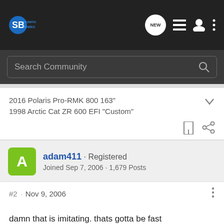[Figure (screenshot): Snowmobile Fanatics forum website header with logo, NEW bubble, list icon, user icon, and vertical dots menu]
Search Community
2016 Polaris Pro-RMK 800 163"
1998 Arctic Cat ZR 600 EFI "Custom"
adam411 · Registered
Joined Sep 7, 2006 · 1,679 Posts
#2 · Nov 9, 2006
damn that is imitating. thats gotta be fast